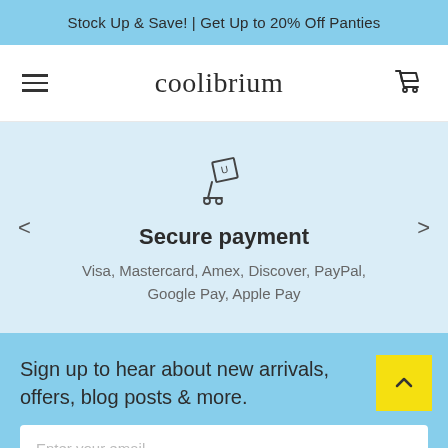Stock Up & Save! | Get Up to 20% Off Panties
[Figure (screenshot): Coolibrium e-commerce website header with hamburger menu, logo, and cart icon]
[Figure (illustration): Package delivery cart icon for secure payment feature panel]
Secure payment
Visa, Mastercard, Amex, Discover, PayPal, Google Pay, Apple Pay
Sign up to hear about new arrivals, offers, blog posts & more.
Enter your email